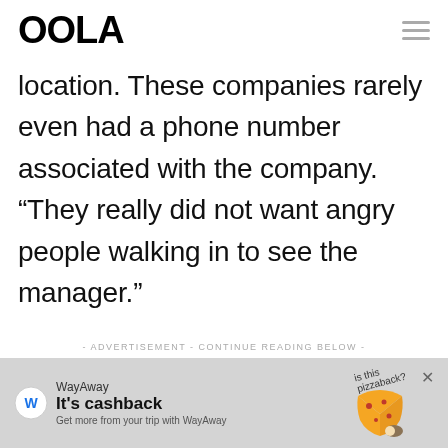OOLA
location. These companies rarely even had a phone number associated with the company. “They really did not want angry people walking in to see the manager.”
- ADVERTISEMENT - CONTINUE READING BELOW -
[Figure (infographic): WayAway advertisement banner: logo icon, headline 'It’s cashback', subtext 'Get more from your trip with WayAway', decorative pizza image with handwritten text 'is this pizzaback?']